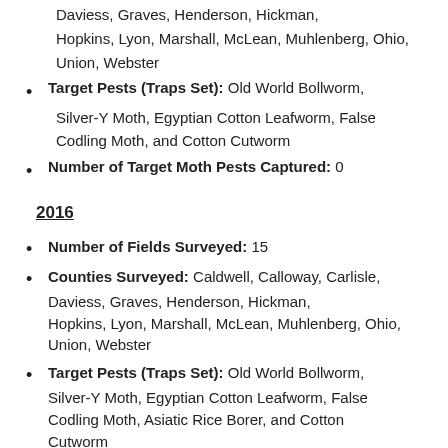Daviess, Graves, Henderson, Hickman, Hopkins, Lyon, Marshall, McLean, Muhlenberg, Ohio, Union, Webster
Target Pests (Traps Set): Old World Bollworm, Silver-Y Moth, Egyptian Cotton Leafworm, False Codling Moth, and Cotton Cutworm
Number of Target Moth Pests Captured: 0
2016
Number of Fields Surveyed: 15
Counties Surveyed: Caldwell, Calloway, Carlisle, Daviess, Graves, Henderson, Hickman, Hopkins, Lyon, Marshall, McLean, Muhlenberg, Ohio, Union, Webster
Target Pests (Traps Set): Old World Bollworm, Silver-Y Moth, Egyptian Cotton Leafworm, False Codling Moth, Asiatic Rice Borer, and Cotton Cutworm
Number of Target Moth Pests Captured: 0
2015